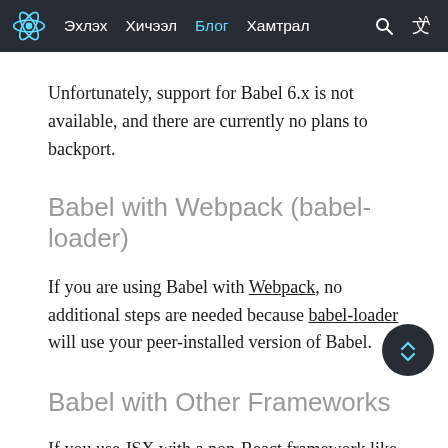Эхлэх  Хичээл  Блог  Хамтрал
Unfortunately, support for Babel 6.x is not available, and there are currently no plans to backport.
Babel with Webpack (babel-loader)
If you are using Babel with Webpack, no additional steps are needed because babel-loader will use your peer-installed version of Babel.
Babel with Other Frameworks
If you use JSX with a non-React framework like Inferno or Preact, there is a pragma option available in babel-